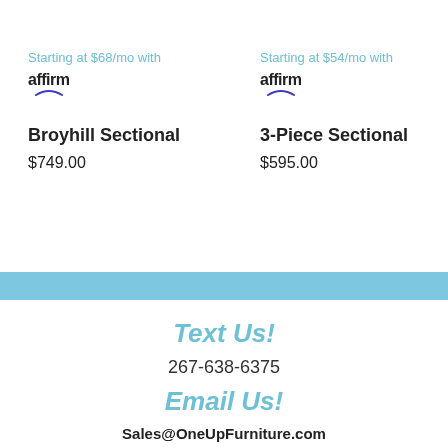Starting at $68/mo with affirm
Broyhill Sectional
$749.00
Starting at $54/mo with affirm
3-Piece Sectional
$595.00
Text Us!
267-638-6375
Email Us!
Sales@OneUpFurniture.com